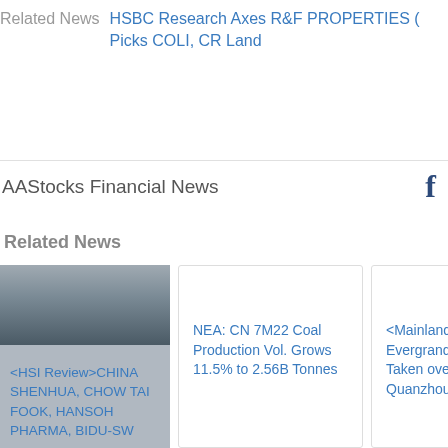Related News  HSBC Research Axes R&F PROPERTIES (…) Picks COLI, CR Land
AAStocks Financial News
[Figure (logo): Facebook logo icon in dark blue]
Related News
[Figure (photo): Dark blurry sky/cloud photo used as thumbnail for HSI Review news article]
<HSI Review>CHINA SHENHUA, CHOW TAI FOOK, HANSOH PHARMA, BIDU-SW
NEA: CN 7M22 Coal Production Vol. Grows 11.5% to 2.56B Tonnes
<Mainland Proper… Evergrande Proje… Taken over by Quanzhou Financi…